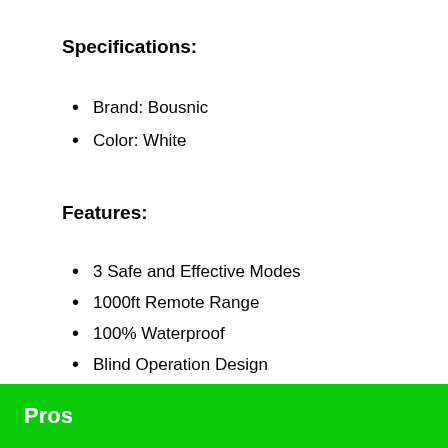Specifications:
Brand: Bousnic
Color: White
Features:
3 Safe and Effective Modes
1000ft Remote Range
100% Waterproof
Blind Operation Design
Adjustable collar size
Pros